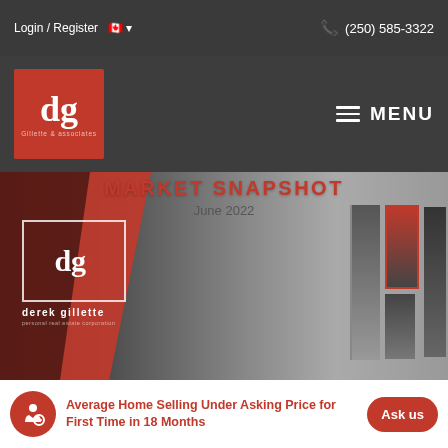Login / Register  (250) 585-3322
[Figure (logo): DG Gillette & Associates logo — white 'dg' letters on red square background]
MENU
[Figure (photo): Market Snapshot June 2022 — hero image with red diagonal shape on left, Derek Gillette personal real estate corporation logo overlaid, blurred photo frames in background]
MARKET SNAPSHOT
June 2022
[Figure (logo): derek gillette personal real estate corporation logo — white dg in bordered box with name below]
Average Home Selling Under Asking Price for First Time in 18 Months